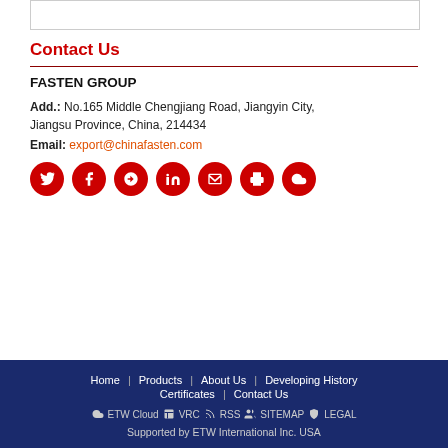Contact Us
FASTEN GROUP
Add.: No.165 Middle Chengjiang Road, Jiangyin City, Jiangsu Province, China, 214434
Email: export@chinafasten.com
[Figure (other): Row of 7 red circular social media icons: Twitter, Facebook, Google+, LinkedIn, Email, Print, Cloud]
Home | Products | About Us | Developing History | Certificates | Contact Us
ETW Cloud  VRC  RSS  SITEMAP  LEGAL
Supported by ETW International Inc. USA